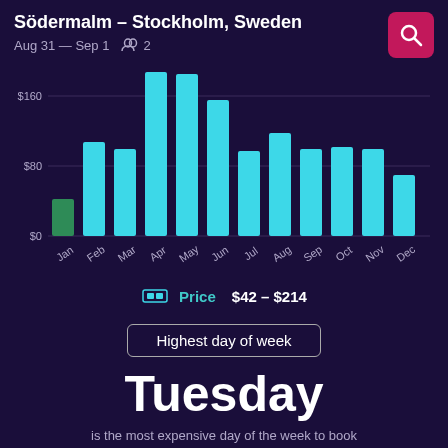Södermalm – Stockholm, Sweden
Aug 31 — Sep 1   👥 2
[Figure (bar-chart): Monthly hotel prices]
Price   $42 – $214
Highest day of week
Tuesday
is the most expensive day of the week to book